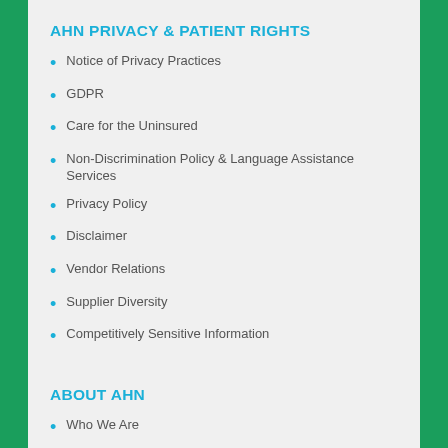AHN PRIVACY & PATIENT RIGHTS
Notice of Privacy Practices
GDPR
Care for the Uninsured
Non-Discrimination Policy & Language Assistance Services
Privacy Policy
Disclaimer
Vendor Relations
Supplier Diversity
Competitively Sensitive Information
ABOUT AHN
Who We Are